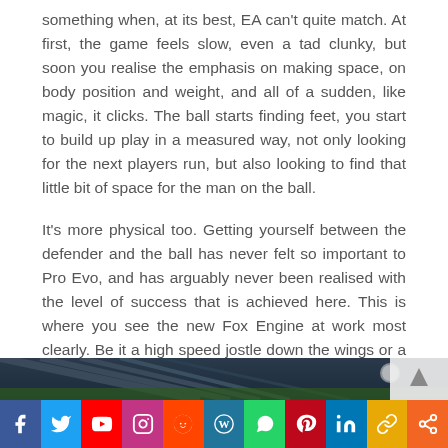something when, at its best, EA can't quite match. At first, the game feels slow, even a tad clunky, but soon you realise the emphasis on making space, on body position and weight, and all of a sudden, like magic, it clicks. The ball starts finding feet, you start to build up play in a measured way, not only looking for the next players run, but also looking to find that little bit of space for the man on the ball.
It's more physical too. Getting yourself between the defender and the ball has never felt so important to Pro Evo, and has arguably never been realised with the level of success that is achieved here. This is where you see the new Fox Engine at work most clearly. Be it a high speed jostle down the wings or a largely static battle over possession in the middle of the park, with the exception of a few odd animations, most of what you see feels relatively true to life.
[Figure (photo): Partial view of a football/soccer stadium interior with green pitch visible, dark background]
[Figure (infographic): Social media sharing bar with icons for Facebook, Twitter, YouTube, Instagram, Reddit, WordPress, WhatsApp, Pinterest, LinkedIn, Copy link, and Share]